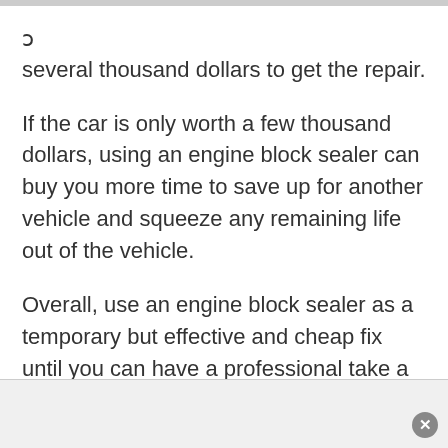several thousand dollars to get the repair.
If the car is only worth a few thousand dollars, using an engine block sealer can buy you more time to save up for another vehicle and squeeze any remaining life out of the vehicle.
Overall, use an engine block sealer as a temporary but effective and cheap fix until you can have a professional take a look at and repair your car, or